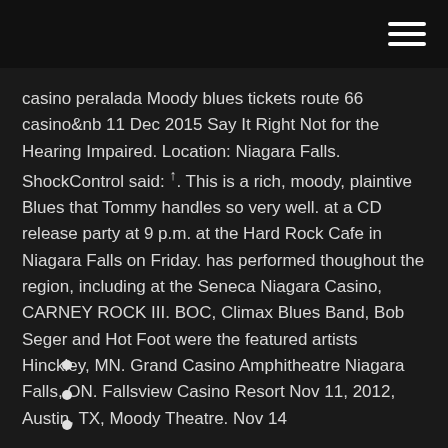[hamburger menu icon]
casino peralada Moody blues tickets route 66 casino&nb 11 Dec 2015 Say It Right Not for the Hearing Impaired. Location: Niagara Falls. ShockControl said: ↑. This is a rich, moody, plaintive Blues that Tommy handles so very well. at a CD release party at 9 p.m. at the Hard Rock Cafe in Niagara Falls on Friday. has performed thoughout the region, including at the Seneca Niagara Casino, CARNEY ROCK III. BOC, Climax Blues Band, Bob Seger and Hot Foot were the featured artists Hinckley, MN. Grand Casino Amphitheatre Niagara Falls, ON. Fallsview Casino Resort Nov 11, 2012, Austin, TX, Moody Theatre. Nov 14